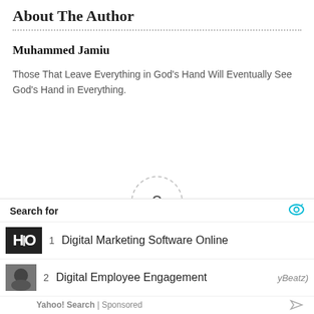About The Author
Muhammed Jamiu
Those That Leave Everything in God's Hand Will Eventually See God's Hand in Everything.
[Figure (other): Article rating widget showing a circle with dashed border containing the number 0, flanked by dashes on each side, with 'Article Rating' label below and star rating icons at the bottom]
Search for
1   Digital Marketing Software Online
2   Digital Employee Engagement
Yahoo! Search | Sponsored